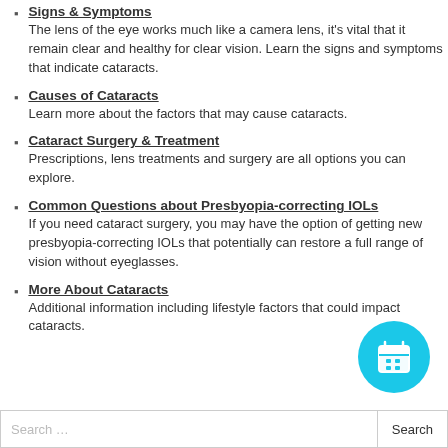Signs & Symptoms
The lens of the eye works much like a camera lens, it's vital that it remain clear and healthy for clear vision. Learn the signs and symptoms that indicate cataracts.
Causes of Cataracts
Learn more about the factors that may cause cataracts.
Cataract Surgery & Treatment
Prescriptions, lens treatments and surgery are all options you can explore.
Common Questions about Presbyopia-correcting IOLs
If you need cataract surgery, you may have the option of getting new presbyopia-correcting IOLs that potentially can restore a full range of vision without eyeglasses.
More About Cataracts
Additional information including lifestyle factors that could impact cataracts.
[Figure (illustration): Circular cyan calendar/appointment icon button]
Search ...